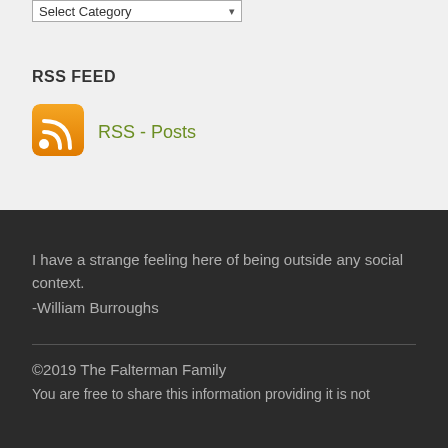Select Category
RSS FEED
[Figure (illustration): Orange RSS feed icon with white signal waves]
RSS - Posts
I have a strange feeling here of being outside any social context.
-William Burroughs
©2019 The Falterman Family
You are free to share this information providing it is not...